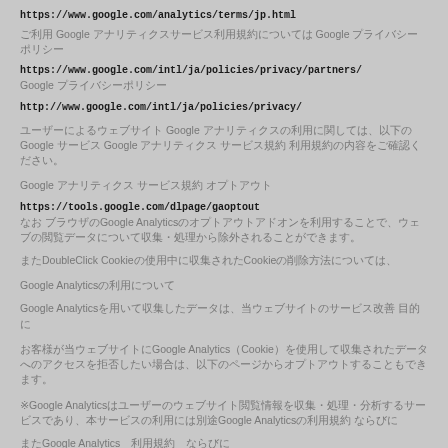https://www.google.com/analytics/terms/jp.html
ご利用 Google アナリティクスサービス利用規約については Google プライバシーポリシー https://www.google.com/intl/ja/policies/privacy/partners/ Google プライバシーポリシー http://www.google.com/intl/ja/policies/privacy/
ユーザーによるウェブサイト Google アナリティクスの利用に関しては、以下のGoogle サービス Google アナリティクス サービス規約 利用規約の内容をご確認ください。
Google アナリティクス サービス規約 オプトアウト https://tools.google.com/dlpage/gaoptout なお ブラウザのGoogle Analytics オプトアウトアドオンを利用することで、ウェブの閲覧データについて収集・処理から除外されることができます。 またDoubleClick Cookieの使用中に収集されたCookieの削除方法については、
Google Analyticsの利用について Google Analyticsを用いて収集したデータは、当ウェブサイトのサービス改善 目的に
お客様が当ウェブサイトにGoogle Analytics（Cookie）を使用して収集されたデータへのアクセスを拒否したい場合は、以下のページからオプトアウトすることもできます。
※Google Analyticsはユーザーのウェブサイト閲覧情報を収集・処理・分析するサービスであり、本サービスの利用には別途Google Analyticsの利用規約 ならびに